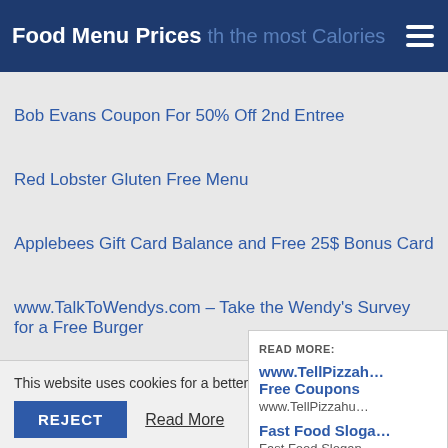Food Menu Prices — with the most Calories
Bob Evans Coupon For 50% Off 2nd Entree
Red Lobster Gluten Free Menu
Applebees Gift Card Balance and Free 25$ Bonus Card
www.TalkToWendys.com – Take the Wendy's Survey for a Free Burger
Chipotle joins the Gourmet Burger Restaurant tren…
READ MORE: www.TellPizzahu… Free Coupons | www.TellPizzahu… | Fast Food Sloga… | Fast Food Slogan…
This website uses cookies for a better user experie…
REJECT   Read More